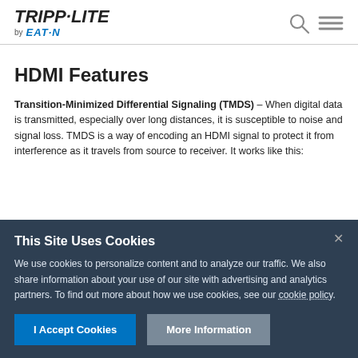TRIPP·LITE by EATON
HDMI Features
Transition-Minimized Differential Signaling (TMDS) – When digital data is transmitted, especially over long distances, it is susceptible to noise and signal loss. TMDS is a way of encoding an HDMI signal to protect it from interference as it travels from source to receiver. It works like this:
This Site Uses Cookies
We use cookies to personalize content and to analyze our traffic. We also share information about your use of our site with advertising and analytics partners. To find out more about how we use cookies, see our cookie policy.
I Accept Cookies | More Information